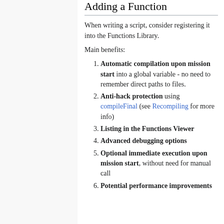Adding a Function
When writing a script, consider registering it into the Functions Library.
Main benefits:
Automatic compilation upon mission start into a global variable - no need to remember direct paths to files.
Anti-hack protection using compileFinal (see Recompiling for more info)
Listing in the Functions Viewer
Advanced debugging options
Optional immediate execution upon mission start, without need for manual call
Potential performance improvements